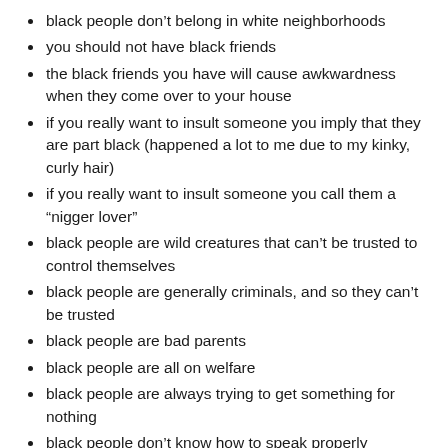black people don't belong in white neighborhoods
you should not have black friends
the black friends you have will cause awkwardness when they come over to your house
if you really want to insult someone you imply that they are part black (happened a lot to me due to my kinky, curly hair)
if you really want to insult someone you call them a “nigger lover”
black people are wild creatures that can’t be trusted to control themselves
black people are generally criminals, and so they can’t be trusted
black people are bad parents
black people are all on welfare
black people are always trying to get something for nothing
black people don’t know how to speak properly
it’s okay to make fun of how black people speak,